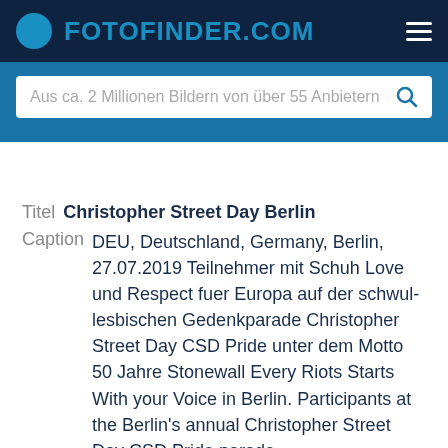FOTOFINDER.COM
Aus ca. 2 Millionen Bildern von über 55 Anbietern
Titel Christopher Street Day Berlin
Caption DEU, Deutschland, Germany, Berlin, 27.07.2019 Teilnehmer mit Schuh Love und Respect fuer Europa auf der schwul-lesbischen Gedenkparade Christopher Street Day CSD Pride unter dem Motto 50 Jahre Stonewall Every Riots Starts With your Voice in Berlin. Participants at the Berlin's annual Christopher Street Day CSD Pride parade